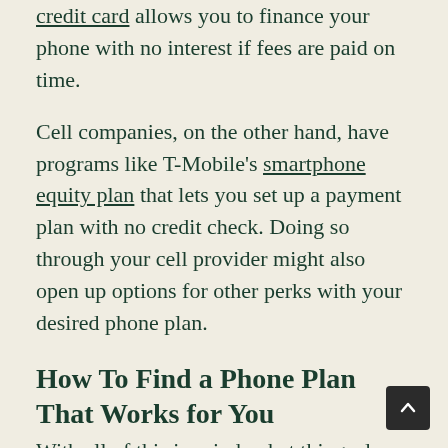credit card allows you to finance your phone with no interest if fees are paid on time.
Cell companies, on the other hand, have programs like T-Mobile's smartphone equity plan that lets you set up a payment plan with no credit check. Doing so through your cell provider might also open up options for other perks with your desired phone plan.
How To Find a Phone Plan That Works for You
With all of this in mind, what things do you need to consider when choosing a plan?